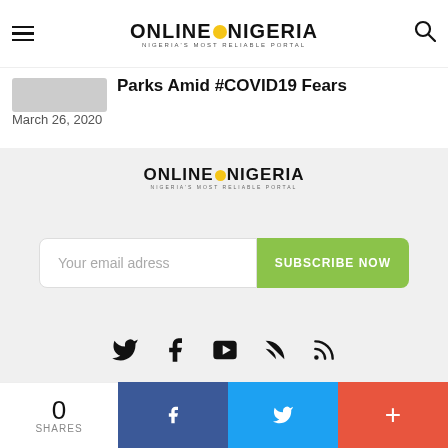ONLINE NIGERIA — NIGERIA'S MOST RELIABLE PORTAL
Parks Amid #COVID19 Fears
March 26, 2020
[Figure (logo): Online Nigeria logo — NIGERIA'S MOST RELIABLE PORTAL]
Your email adress
SUBSCRIBE NOW
[Figure (infographic): Social media icons: Twitter, Facebook, YouTube, RSS feed]
0 SHARES — Facebook share, Twitter share, More share